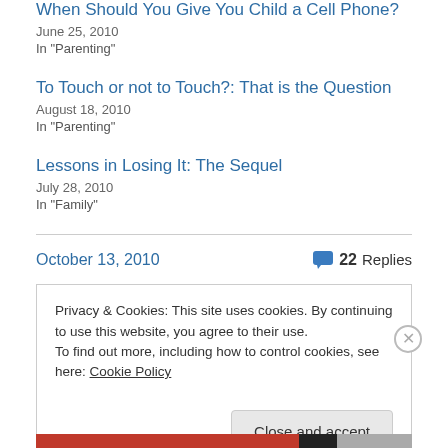When Should You Give You Child a Cell Phone?
June 25, 2010
In "Parenting"
To Touch or not to Touch?: That is the Question
August 18, 2010
In "Parenting"
Lessons in Losing It: The Sequel
July 28, 2010
In "Family"
October 13, 2010
22 Replies
Privacy & Cookies: This site uses cookies. By continuing to use this website, you agree to their use. To find out more, including how to control cookies, see here: Cookie Policy
Close and accept